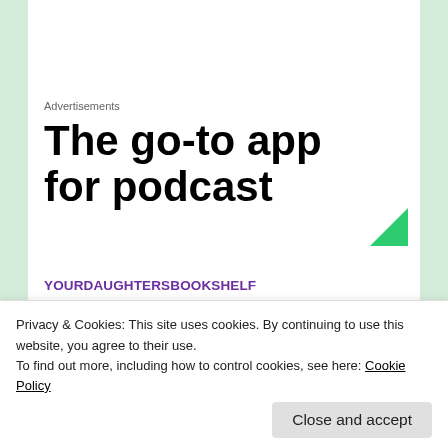Advertisements
[Figure (screenshot): Advertisement showing text 'The go-to app for podcast' with a green triangle/arrow in the corner]
YOURDAUGHTERSBOOKSHELF
January 6, 2016 at 10:57 PM
REPLY →
oh geez, This is WHERE it Ends – I really need to proofread before I hit post...
Privacy & Cookies: This site uses cookies. By continuing to use this website, you agree to their use.
To find out more, including how to control cookies, see here: Cookie Policy
Close and accept